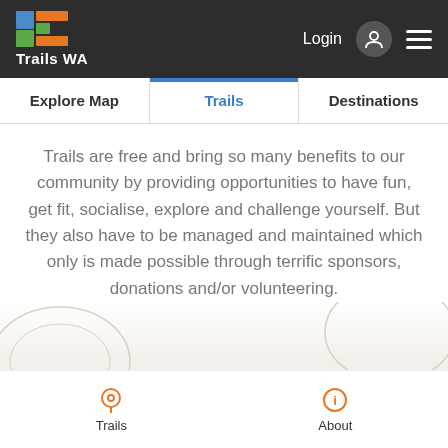[Figure (screenshot): Trails WA website header with logo (blue, green, orange geometric squares and rectangles), Login button, user icon, and hamburger menu on dark background]
[Figure (screenshot): Navigation tab bar with three tabs: Explore Map, Trails (active, highlighted in blue), and Destinations]
Trails are free and bring so many benefits to our community by providing opportunities to have fun, get fit, socialise, explore and challenge yourself. But they also have to be managed and maintained which only is made possible through terrific sponsors, donations and/or volunteering.
[Figure (screenshot): Decorative background area with subtle trail/nature pattern in light beige/white]
More about our Supporters & how you can join
[Figure (screenshot): Bottom navigation bar with Trails (pin icon) and About (info icon) in orange]